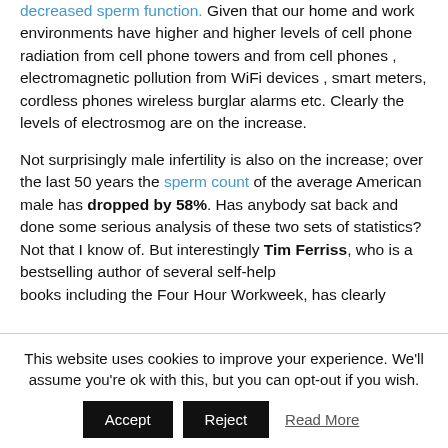decreased sperm function. Given that our home and work environments have higher and higher levels of cell phone radiation from cell phone towers and from cell phones , electromagnetic pollution from WiFi devices , smart meters, cordless phones wireless burglar alarms etc. Clearly the levels of electrosmog are on the increase.
Not surprisingly male infertility is also on the increase; over the last 50 years the sperm count of the average American male has dropped by 58%. Has anybody sat back and done some serious analysis of these two sets of statistics? Not that I know of. But interestingly Tim Ferriss, who is a bestselling author of several self-help books including the Four Hour Workweek, has clearly
This website uses cookies to improve your experience. We'll assume you're ok with this, but you can opt-out if you wish. Accept Reject Read More